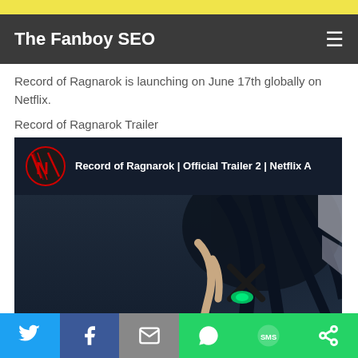The Fanboy SEO
Record of Ragnarok is launching on June 17th globally on Netflix.
Record of Ragnarok Trailer
[Figure (screenshot): YouTube video thumbnail showing 'Record of Ragnarok | Official Trailer 2 | Netflix A' with Netflix logo and anime character with dark hair and glowing green eyes]
Share buttons: Twitter, Facebook, Email, WhatsApp, SMS, More